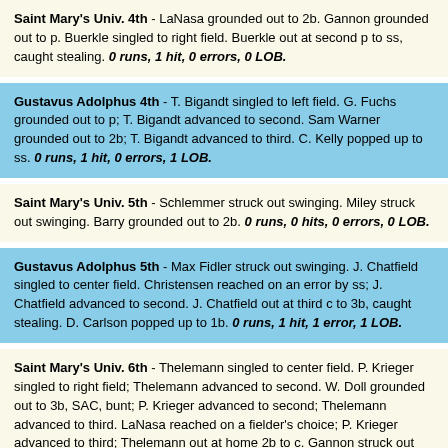Saint Mary's Univ. 4th - LaNasa grounded out to 2b. Gannon grounded out to p. Buerkle singled to right field. Buerkle out at second p to ss, caught stealing. 0 runs, 1 hit, 0 errors, 0 LOB.
Gustavus Adolphus 4th - T. Bigandt singled to left field. G. Fuchs grounded out to p; T. Bigandt advanced to second. Sam Warner grounded out to 2b; T. Bigandt advanced to third. C. Kelly popped up to ss. 0 runs, 1 hit, 0 errors, 1 LOB.
Saint Mary's Univ. 5th - Schlemmer struck out swinging. Miley struck out swinging. Barry grounded out to 2b. 0 runs, 0 hits, 0 errors, 0 LOB.
Gustavus Adolphus 5th - Max Fidler struck out swinging. J. Chatfield singled to center field. Christensen reached on an error by ss; J. Chatfield advanced to second. J. Chatfield out at third c to 3b, caught stealing. D. Carlson popped up to 1b. 0 runs, 1 hit, 1 error, 1 LOB.
Saint Mary's Univ. 6th - Thelemann singled to center field. P. Krieger singled to right field; Thelemann advanced to second. W. Doll grounded out to 3b, SAC, bunt; P. Krieger advanced to second; Thelemann advanced to third. LaNasa reached on a fielder's choice; P. Krieger advanced to third; Thelemann out at home 2b to c. Gannon struck out looking. 0 runs, 2 hits, 0 errors, 2 LOB.
Gustavus Adolphus 6th - [partial]